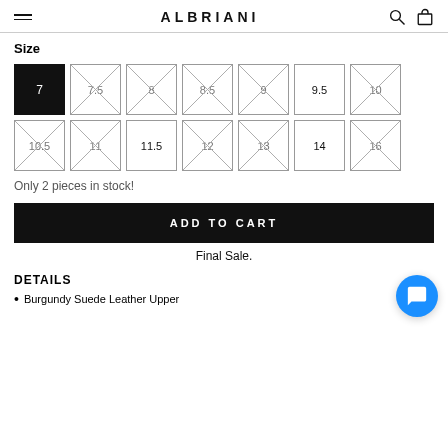ALBRIANI
Size
Size options: 7 (selected), 7.5 (unavailable), 8 (unavailable), 8.5 (unavailable), 9 (unavailable), 9.5 (available), 10 (unavailable), 10.5 (unavailable), 11 (unavailable), 11.5 (available), 12 (unavailable), 13 (unavailable), 14 (available), 16 (unavailable)
Only 2 pieces in stock!
ADD TO CART
Final Sale.
DETAILS
Burgundy Suede Leather Upper